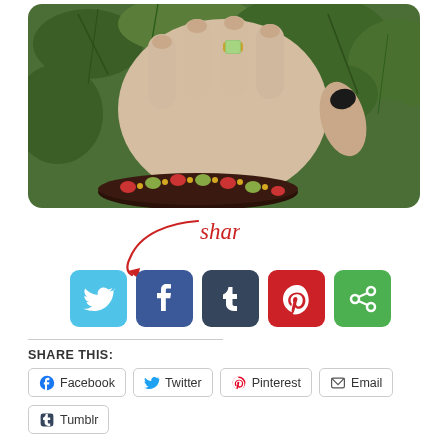[Figure (photo): A hand with a gemstone ring and colorful bangle bracelet, placed against green foliage/conifers. The nails are painted black.]
share and enjoy!
[Figure (infographic): Row of social media share buttons: Twitter (blue bird), Facebook (blue f), Tumblr (dark blue t), Pinterest (red p), and a green icon.]
SHARE THIS:
Facebook
Twitter
Pinterest
Email
Tumblr